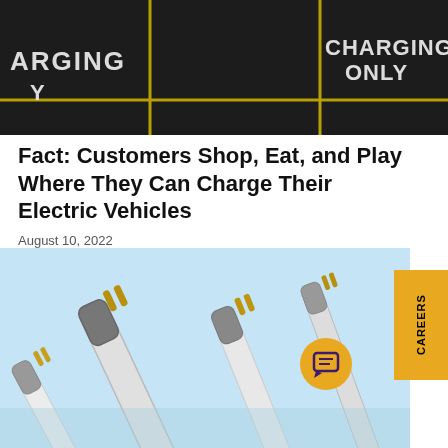[Figure (photo): Aerial view of a parking lot with 'CHARGING ONLY' markings painted on asphalt in yellow text]
Fact: Customers Shop, Eat, and Play Where They Can Charge Their Electric Vehicles
August 10, 2022
[Figure (photo): Close-up of multiple fluorescent tube light bulbs arranged diagonally on a light blue background, showing metal end caps with gold pins]